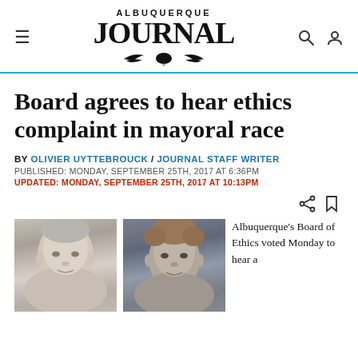ALBUQUERQUE JOURNAL
Board agrees to hear ethics complaint in mayoral race
BY OLIVIER UYTTEBROUCK / JOURNAL STAFF WRITER
PUBLISHED: MONDAY, SEPTEMBER 25TH, 2017 AT 6:36PM
UPDATED: MONDAY, SEPTEMBER 25TH, 2017 AT 10:13PM
[Figure (photo): Two photos of individuals related to the mayoral race ethics complaint story]
Albuquerque's Board of Ethics voted Monday to hear a